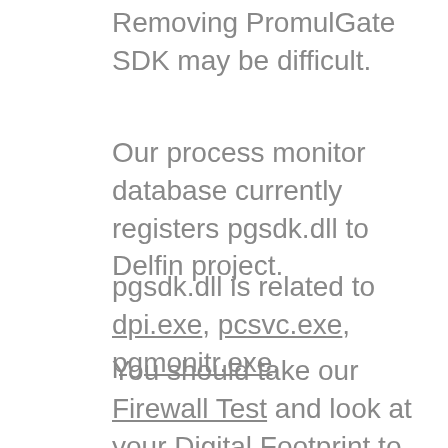Removing PromulGate SDK may be difficult.
Our process monitor database currently registers pgsdk.dll to Delfin project.
pgsdk.dll is related to dpi.exe, pcsvc.exe, pgmonitr.exe,
You should take our Firewall Test and look at your Digital Footprint to make sure your system is not giving away valuable information.